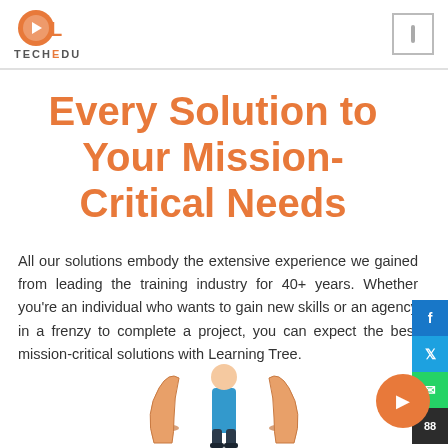[Figure (logo): OL TechEdu logo with orange circular icon and text TECHEDU]
Every Solution to Your Mission-Critical Needs
All our solutions embody the extensive experience we gained from leading the training industry for 40+ years. Whether you're an individual who wants to gain new skills or an agency in a frenzy to complete a project, you can expect the best mission-critical solutions with Learning Tree.
[Figure (illustration): Illustration of a person with two hands raised on either side, representing support or learning]